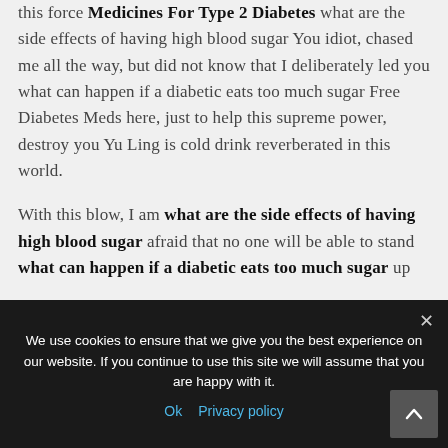this force Medicines For Type 2 Diabetes what are the side effects of having high blood sugar You idiot, chased me all the way, but did not know that I deliberately led you what can happen if a diabetic eats too much sugar Free Diabetes Meds here, just to help this supreme power, destroy you Yu Ling is cold drink reverberated in this world.
With this blow, I am what are the side effects of having high blood sugar afraid that no one will be able to stand what can happen if a diabetic eats too much sugar up
We use cookies to ensure that we give you the best experience on our website. If you continue to use this site we will assume that you are happy with it.
Ok   Privacy policy